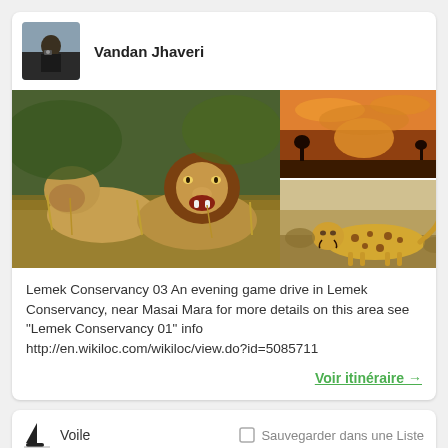Vandan Jhaveri
[Figure (photo): Photo collage: large image of two lions (one roaring) in savanna grass, top-right image of dramatic orange sunset sky, bottom-right image of a cheetah walking on dry terrain]
Lemek Conservancy 03 An evening game drive in Lemek Conservancy, near Masai Mara for more details on this area see "Lemek Conservancy 01" info http://en.wikiloc.com/wikiloc/view.do?id=5085711
Voir itinéraire →
Voile
Sauvegarder dans une Liste